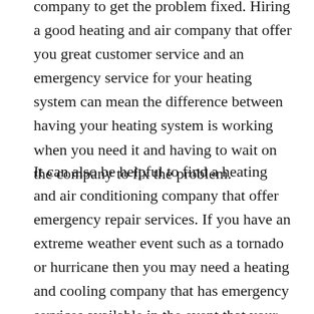company to get the problem fixed. Hiring a good heating and air company that offer you great customer service and an emergency service for your heating system can mean the difference between having your heating system is working when you need it and having to wait on the company to fix the problem.
It can also be helpful to find a heating and air conditioning company that offer emergency repair services. If you have an extreme weather event such as a tornado or hurricane then you may need a heating and cooling company that has emergency services available in the event that your system fails. If your heating and cooling system fail due to a fire then it can be helpful to have an emergency repair service that can come to your home in order to repair the problem.